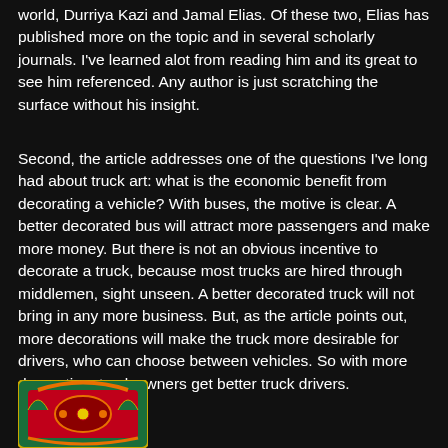world, Durriya Kazi and Jamal Elias. Of these two, Elias has published more on the topic and in several scholarly journals. I've learned alot from reading him and its great to see him referenced. Any author is just scratching the surface without his insight.
Second, the article addresses one of the questions I've long had about truck art: what is the economic benefit from decorating a vehicle? With buses, the motive is clear. A better decorated bus will attract more passengers and make more money. But there is not an obvious incentive to decorate a truck, because most trucks are hired through middlemen, sight unseen. A better decorated truck will not bring in any more business. But, as the article points out, more decorations will make the truck more desirable for drivers, who can choose between vehicles. So with more decoration, truck owners get better truck drivers.
[Figure (illustration): Partial view of a colorful decorative truck art emblem with green, orange, red and yellow ornamental design, likely a Pakistani truck art motif, visible at the bottom left of the page.]